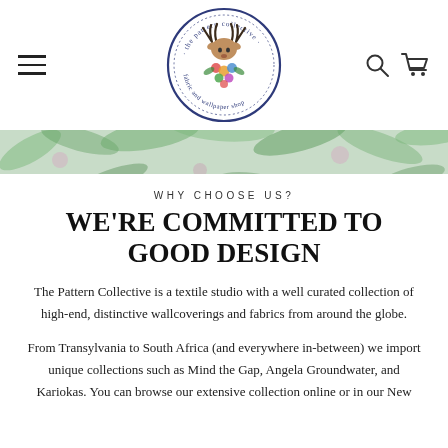[Figure (logo): The Pattern Collective fabric and wallpaper shop circular logo with floral deer illustration and navy blue border]
WHY CHOOSE US?
WE'RE COMMITTED TO GOOD DESIGN
The Pattern Collective is a textile studio with a well curated collection of high-end, distinctive wallcoverings and fabrics from around the globe.
From Transylvania to South Africa (and everywhere in-between) we import unique collections such as Mind the Gap, Angela Groundwater, and Kariokas. You can browse our extensive collection online or in our New